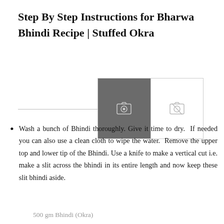Step By Step Instructions for Bharwa Bhindi Recipe | Stuffed Okra
[Figure (other): Image upload button area with two icons: a camera icon on dark grey background and a disabled/crossed-out camera icon on white background]
Wash a bunch of Bhindi thoroughly. Give it time to dry. If needed you can also use a clean cloth to wipe the water. Remove the upper top and lower tip of the Bhindi. Use a knife to make a vertical cut i.e. make a slit across the bhindi in its entire length and now keep these slit bhindi aside.
500 gm Bhindi (Okra)